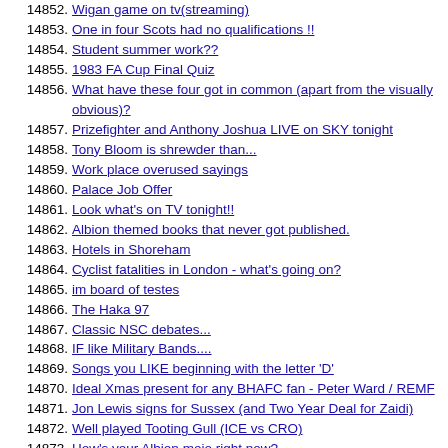14852. Wigan game on tv(streaming)
14853. One in four Scots had no qualifications !!
14854. Student summer work??
14855. 1983 FA Cup Final Quiz
14856. What have these four got in common (apart from the visually obvious)?
14857. Prizefighter and Anthony Joshua LIVE on SKY tonight
14858. Tony Bloom is shrewder than...
14859. Work place overused sayings
14860. Palace Job Offer
14861. Look what's on TV tonight!!
14862. Albion themed books that never got published.
14863. Hotels in Shoreham
14864. Cyclist fatalities in London - what's going on?
14865. im board of testes
14866. The Haka 97
14867. Classic NSC debates...
14868. IF like Military Bands....
14869. Songs you LIKE beginning with the letter 'D'
14870. Ideal Xmas present for any BHAFC fan - Peter Ward / REMF
14871. Jon Lewis signs for Sussex (and Two Year Deal for Zaidi)
14872. Well played Tooting Gull (ICE vs CRO)
14873. How's your Albion mojo right now?
14874. Singers who IRRITATE you
14875. What is WILF smoking
14876. Favourite ACTOR you have seen performing live
14877. [Albion] Official Brighton & Hove Albion Auctions: poppy shirts vs Blackburn.
14878. (partially visible)